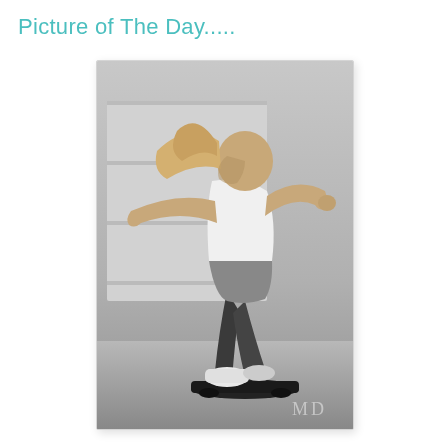Picture of The Day.....
[Figure (photo): Black and white photograph of a girl skateboarding, arms outstretched for balance, wearing a t-shirt and dark jeans with white sneakers, crouching on a skateboard in front of a garage door. Watermark 'MD' in lower right corner.]